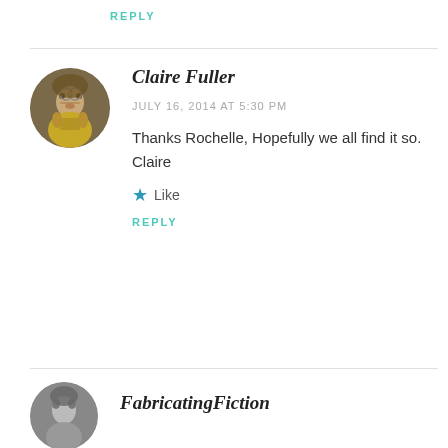REPLY
[Figure (photo): Circular avatar photo of Claire Fuller, a woman with glasses in a yellow sweater outdoors]
Claire Fuller
JULY 16, 2014 AT 5:30 PM
Thanks Rochelle, Hopefully we all find it so.
Claire
★ Like
REPLY
[Figure (photo): Circular avatar photo of FabricatingFiction, a person in grayscale]
FabricatingFiction